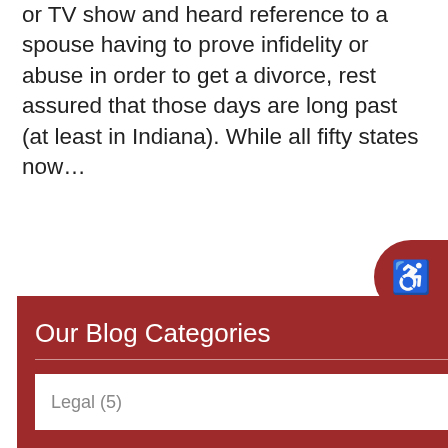or TV show and heard reference to a spouse having to prove infidelity or abuse in order to get a divorce, rest assured that those days are long past (at least in Indiana). While all fifty states now...
READ MORE
Our Blog Categories
Legal (5)